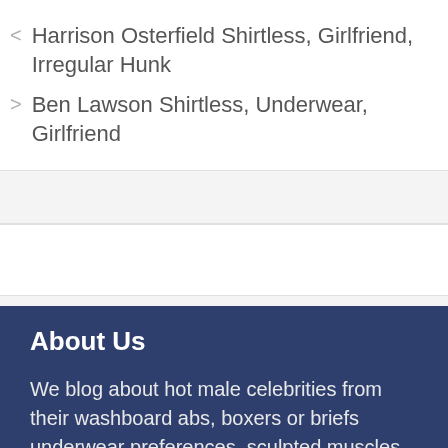< Harrison Osterfield Shirtless, Girlfriend, Irregular Hunk
> Ben Lawson Shirtless, Underwear, Girlfriend
About Us
We blog about hot male celebrities from their washboard abs, boxers or briefs underwear preferences, sculpted muscles, movies and TV shows, and sometimes their shoe size...